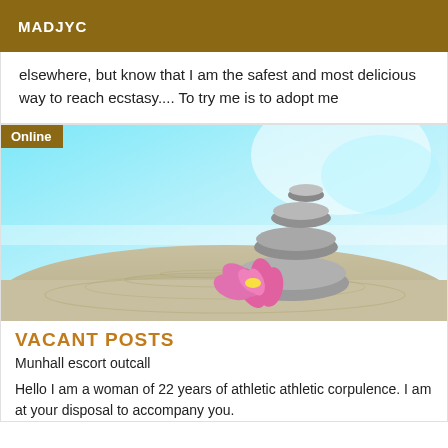MADJYC
elsewhere, but know that I am the safest and most delicious way to reach ecstasy.... To try me is to adopt me
[Figure (photo): Stacked zen stones on sand with a pink lotus flower, with a teal/blue blurred background. An 'Online' badge is shown in the top-left corner.]
VACANT POSTS
Munhall escort outcall
Hello I am a woman of 22 years of athletic athletic corpulence. I am at your disposal to accompany you.